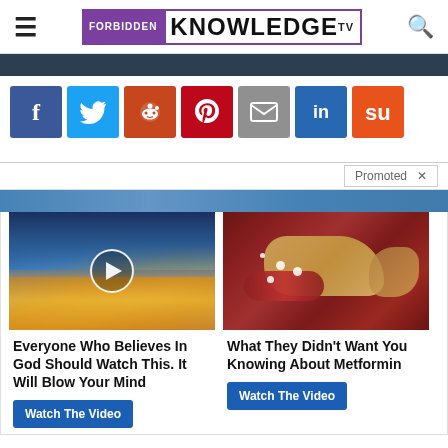FORBIDDEN KNOWLEDGE TV
[Figure (screenshot): Social media share buttons: Facebook, Twitter, Reddit, Pinterest, Email, LinkedIn, StumbleUpon]
Promoted X
[Figure (photo): Article thumbnail strip - partially visible]
[Figure (photo): Promoted ad card left: video thumbnail of clouds/sky with play button]
Everyone Who Believes In God Should Watch This. It Will Blow Your Mind
Watch The Video
[Figure (photo): Promoted ad card right: medical illustration of pancreas/intestines]
What They Didn't Want You Knowing About Metformin
Watch The Video